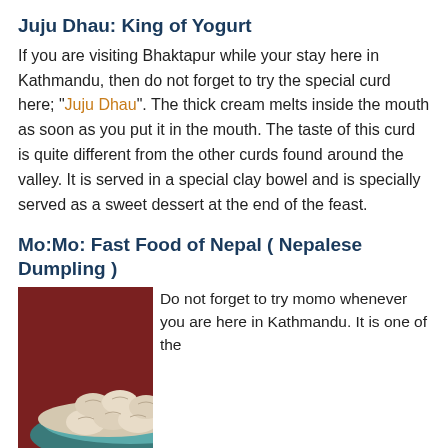Juju Dhau: King of Yogurt
If you are visiting Bhaktapur while your stay here in Kathmandu, then do not forget to try the special curd here; “Juju Dhau”. The thick cream melts inside the mouth as soon as you put it in the mouth. The taste of this curd is quite different from the other curds found around the valley. It is served in a special clay bowel and is specially served as a sweet dessert at the end of the feast.
Mo:Mo: Fast Food of Nepal ( Nepalese Dumpling )
[Figure (photo): Photo of momo dumplings in a teal/blue bowl on a dark red surface, with a round red bowl of orange dipping sauce and a spoon visible]
Do not forget to try momo whenever you are here in Kathmandu. It is one of the